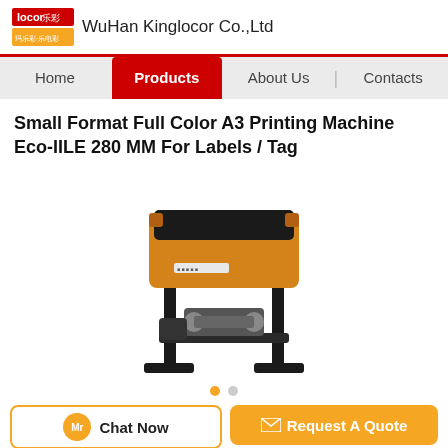locor 乐彩 WuHan Kinglocor Co.,Ltd
Small Format Full Color A3 Printing Machine Eco-IILE 280 MM For Labels / Tag
[Figure (photo): Orange and black A3 printing machine with black metal stand and roller mechanism]
Chat Now  Request A Quote